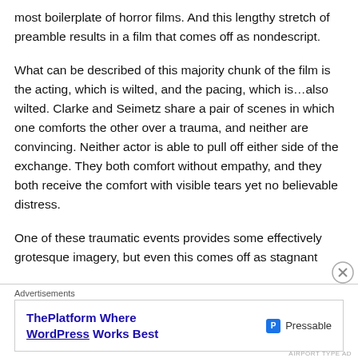most boilerplate of horror films. And this lengthy stretch of preamble results in a film that comes off as nondescript.
What can be described of this majority chunk of the film is the acting, which is wilted, and the pacing, which is…also wilted. Clarke and Seimetz share a pair of scenes in which one comforts the other over a trauma, and neither are convincing. Neither actor is able to pull off either side of the exchange. They both comfort without empathy, and they both receive the comfort with visible tears yet no believable distress.
One of these traumatic events provides some effectively grotesque imagery, but even this comes off as stagnant
Advertisements
[Figure (other): Advertisement for Pressable: 'ThePlatform Where WordPress Works Best' with Pressable logo]